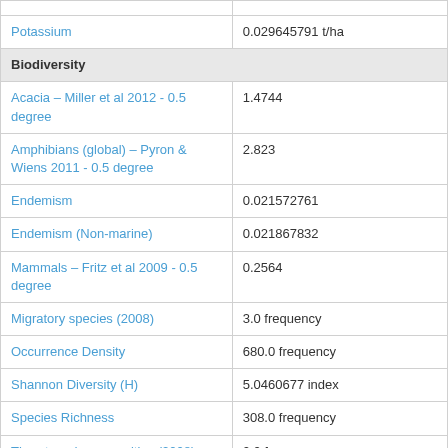| Parameter | Value |
| --- | --- |
| Potassium | 0.029645791 t/ha |
| Biodiversity |  |
| Acacia – Miller et al 2012 - 0.5 degree | 1.4744 |
| Amphibians (global) – Pyron & Wiens 2011 - 0.5 degree | 2.823 |
| Endemism | 0.021572761 |
| Endemism (Non-marine) | 0.021867832 |
| Mammals – Fritz et al 2009 - 0.5 degree | 0.2564 |
| Migratory species (2008) | 3.0 frequency |
| Occurrence Density | 680.0 frequency |
| Shannon Diversity (H) | 5.0460677 index |
| Species Richness | 308.0 frequency |
| Threatened communities (2008) | 0.0 frequency |